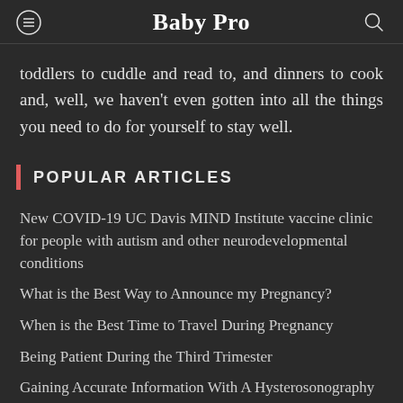Baby Pro
toddlers to cuddle and read to, and dinners to cook and, well, we haven't even gotten into all the things you need to do for yourself to stay well.
POPULAR ARTICLES
New COVID-19 UC Davis MIND Institute vaccine clinic for people with autism and other neurodevelopmental conditions
What is the Best Way to Announce my Pregnancy?
When is the Best Time to Travel During Pregnancy
Being Patient During the Third Trimester
Gaining Accurate Information With A Hysterosonography
POPULAR CATEGORIES